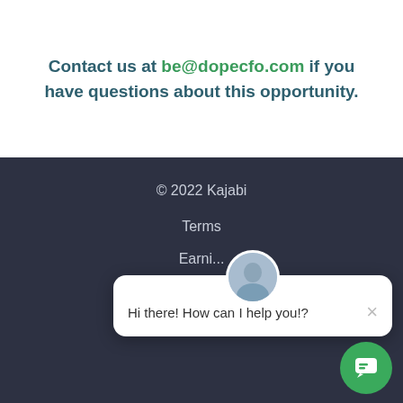Contact us at be@dopecfo.com if you have questions about this opportunity.
© 2022 Kajabi
Terms
Privacy
Earnings
[Figure (other): Social media icons: Facebook, Twitter, Instagram]
[Figure (other): Chat popup with avatar saying Hi there! How can I help you!? and a green chat button]